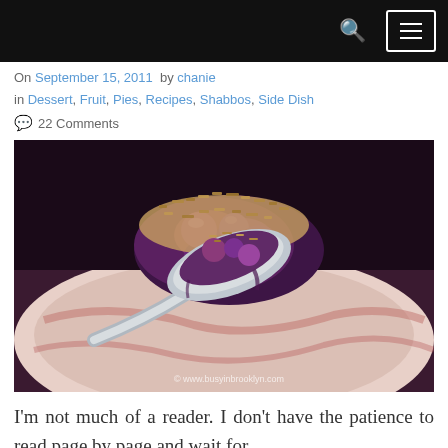Navigation bar with search and menu icons
On September 15, 2011  by chanie
in Dessert, Fruit, Pies, Recipes, Shabbos, Side Dish
22 Comments
[Figure (photo): Close-up photo of a spoon holding blueberry and oat crumble dessert over a plate, with watermark © www.busyinbrooklyn.com]
I'm not much of a reader. I don't have the patience to read page by page and wait for